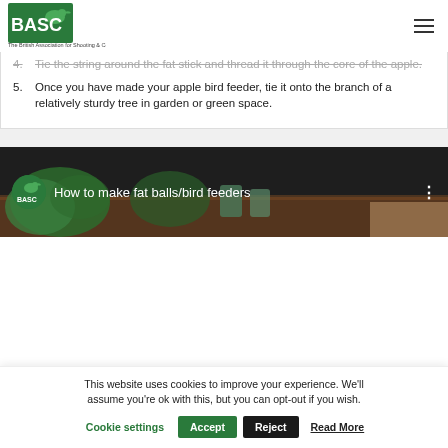BASC – The British Association for Shooting & Conservation
4. Tie the string around the fat stick and thread it through the core of the apple.
5. Once you have made your apple bird feeder, tie it onto the branch of a relatively sturdy tree in garden or green space.
[Figure (screenshot): Video thumbnail for 'How to make fat balls/bird feeders' featuring BASC logo and green plants on a wooden table]
This website uses cookies to improve your experience. We'll assume you're ok with this, but you can opt-out if you wish.
Cookie settings  Accept  Reject  Read More